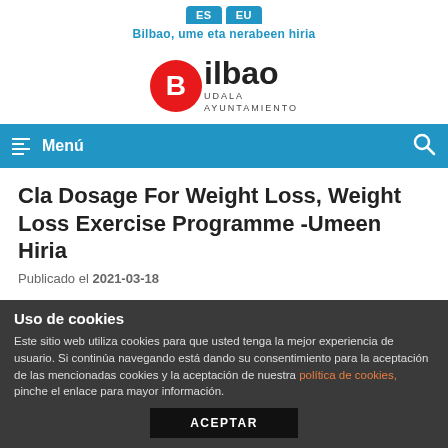ES | EU — Bilbao, ume eta nerabeen hiria
[Figure (logo): Bilbao Udala Ayuntamiento logo — red circle with white B, followed by bold text Bilbao, with UDALA AYUNTAMIENTO below]
Menú
Cla Dosage For Weight Loss, Weight Loss Exercise Programme -Umeen Hiria
Publicado el 2021-03-18
Uso de cookies
Este sitio web utiliza cookies para que usted tenga la mejor experiencia de usuario. Si continúa navegando está dando su consentimiento para la aceptación de las mencionadas cookies y la aceptación de nuestra política de cookies, pinche el enlace para mayor información.
ACEPTAR